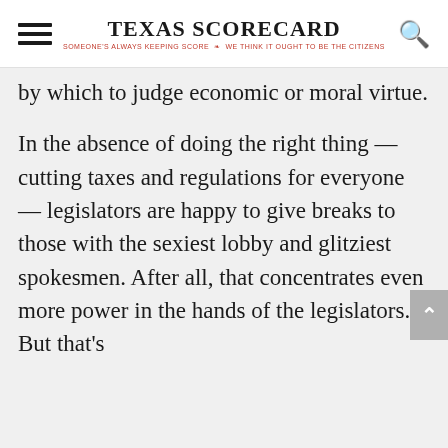TEXAS SCORECARD — SOMEONE'S ALWAYS KEEPING SCORE — WE THINK IT OUGHT TO BE THE CITIZENS
by which to judge economic or moral virtue.
In the absence of doing the right thing — cutting taxes and regulations for everyone — legislators are happy to give breaks to those with the sexiest lobby and glitziest spokesmen. After all, that concentrates even more power in the hands of the legislators. But that's